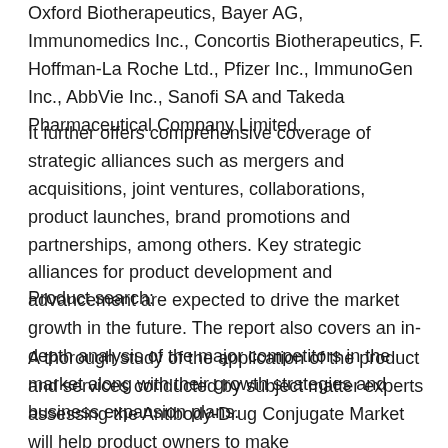Oxford Biotherapeutics, Bayer AG, Immunomedics Inc., Concortis Biotherapeutics, F. Hoffman-La Roche Ltd., Pfizer Inc., ImmunoGen Inc., AbbVie Inc., Sanofi SA and Takeda Pharmaceutical Company Limited.
It further offers comprehensive coverage of strategic alliances such as mergers and acquisitions, joint ventures, collaborations, product launches, brand promotions and partnerships, among others. Key strategic alliances for product development and advancement are expected to drive the market growth in the future. The report also covers an in-depth analysis of the major competitors in the market along with their growth strategies and business expansion plans.
Product search:
A thorough study of the application of the product and services conducted by subject matter experts assessing the Antibody-Drug Conjugate Market will help product owners to make